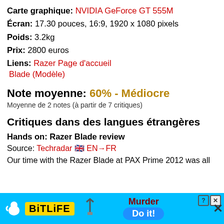Carte graphique: NVIDIA GeForce GT 555M
Écran: 17.30 pouces, 16:9, 1920 x 1080 pixels
Poids: 3.2kg
Prix: 2800 euros
Liens: Razer Page d'accueil
Blade (Modèle)
Note moyenne: 60% - Médiocre
Moyenne de 2 notes (à partir de 7 critiques)
Critiques dans des langues étrangères
Hands on: Razer Blade review
Source: Techradar 🇬🇧 EN→FR
Our time with the Razer Blade at PAX Prime 2012 was all
[Figure (infographic): BitLife advertisement banner with murder theme]